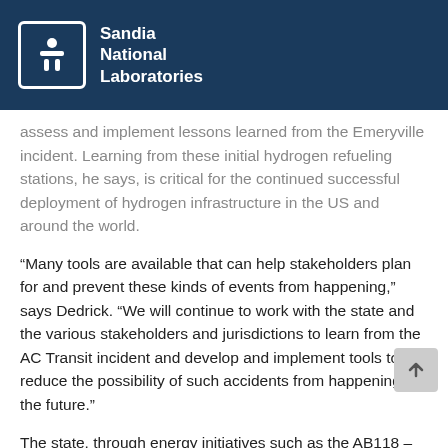Sandia National Laboratories
assess and implement lessons learned from the Emeryville incident. Learning from these initial hydrogen refueling stations, he says, is critical for the continued successful deployment of hydrogen infrastructure in the US and around the world.
“Many tools are available that can help stakeholders plan for and prevent these kinds of events from happening,” says Dedrick. “We will continue to work with the state and the various stakeholders and jurisdictions to learn from the AC Transit incident and develop and implement tools to reduce the possibility of such accidents from happening in the future.”
The state, through energy initiatives such as the AB118 – Alternative and Renewable Fuel and Vehicle Technology Program, has supported the construction of hydrogen stations in northern and southern California, with more